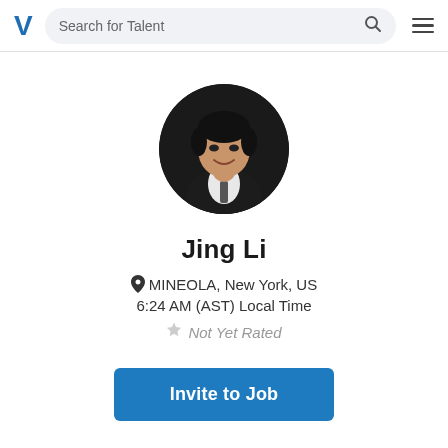Search for Talent
[Figure (photo): Circular profile photo of Jing Li, a man wearing a dark suit and tie, smiling, against a dark background.]
Jing Li
MINEOLA, New York, US
6:24 AM (AST) Local Time
Not Yet Rated
Invite to Job